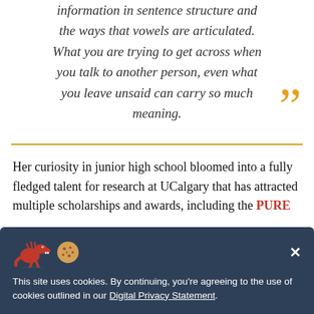information in sentence structure and the ways that vowels are articulated. What you are trying to get across when you talk to another person, even what you leave unsaid can carry so much meaning.
Her curiosity in junior high school bloomed into a fully fledged talent for research at UCalgary that has attracted multiple scholarships and awards, including the PURE
This site uses cookies. By continuing, you're agreeing to the use of cookies outlined in our Digital Privacy Statement.